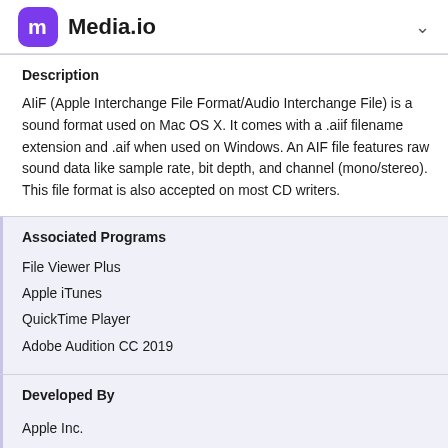Media.io
Description
AIiF (Apple Interchange File Format/Audio Interchange File) is a sound format used on Mac OS X. It comes with a .aiif filename extension and .aif when used on Windows. An AIF file features raw sound data like sample rate, bit depth, and channel (mono/stereo). This file format is also accepted on most CD writers.
Associated Programs
File Viewer Plus
Apple iTunes
QuickTime Player
Adobe Audition CC 2019
Developed By
Apple Inc.